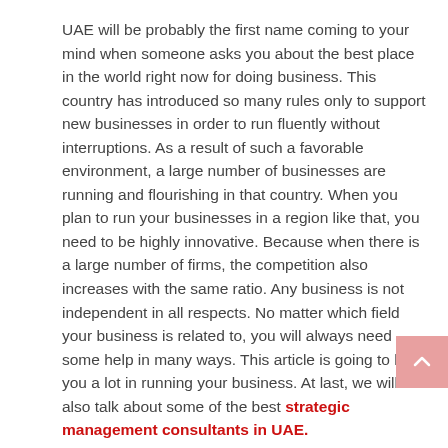UAE will be probably the first name coming to your mind when someone asks you about the best place in the world right now for doing business. This country has introduced so many rules only to support new businesses in order to run fluently without interruptions. As a result of such a favorable environment, a large number of businesses are running and flourishing in that country. When you plan to run your businesses in a region like that, you need to be highly innovative. Because when there is a large number of firms, the competition also increases with the same ratio. Any business is not independent in all respects. No matter which field your business is related to, you will always need some help in many ways. This article is going to help you a lot in running your business. At last, we will also talk about some of the best strategic management consultants in UAE.
What is strategic management and why do you need it?
Before taking this conversation further, let us discuss a